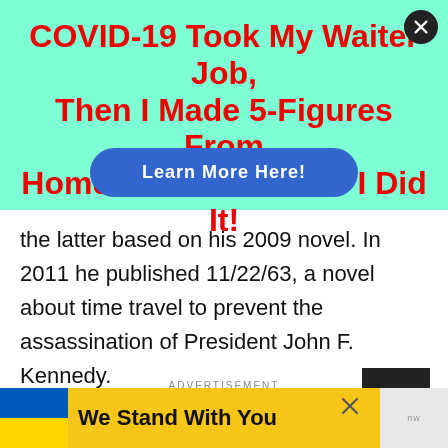[Figure (infographic): Teal/mint green advertisement banner with red bold title text reading 'COVID-19 Took My Waiter Job, Then I Made 5-Figures From Home...Discover How I Did It!' and a blue oval 'Learn More Here!' button overlay. A dark circle close button is in the top right.]
the latter based on his 2009 novel. In 2011 he published 11/22/63, a novel about time travel to prevent the assassination of President John F. Kennedy.
ADVERTISEMENT
[Figure (infographic): Yellow advertisement banner at bottom with Ukrainian flag colors (blue and yellow) on the left and text 'We Stand With You' in bold black. A close X button is on the right side. Above it, a partial ad with 'It's okay to question...' text visible.]